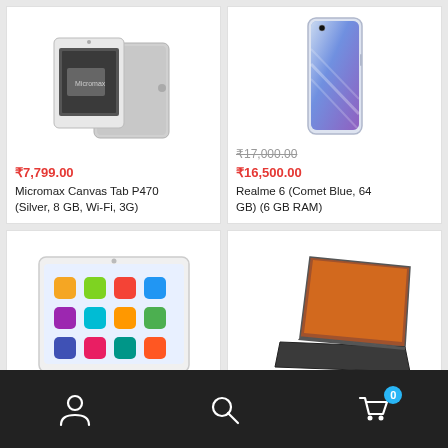[Figure (photo): Micromax Canvas Tab P470 tablet shown from front and back, white color]
₹7,799.00
Micromax Canvas Tab P470 (Silver, 8 GB, Wi-Fi, 3G)
[Figure (photo): Realme 6 smartphone, Comet Blue color, front view showing hole-punch display]
₹17,000.00 (strikethrough)
₹16,500.00
Realme 6 (Comet Blue, 64 GB) (6 GB RAM)
[Figure (photo): White tablet with colorful app icons on screen, partial view]
[Figure (photo): Dark laptop/tablet device at an angle, partial view]
User icon | Search icon | Cart icon with badge 0